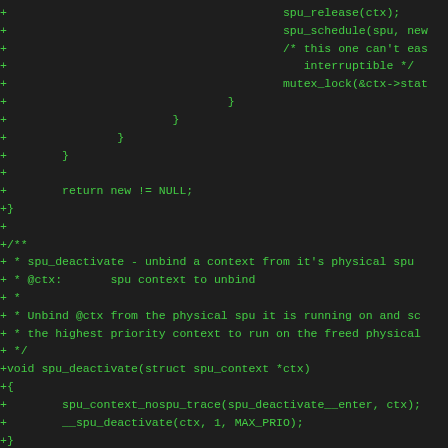Code diff showing spu_deactivate function and closing braces of a prior function, in C source code format